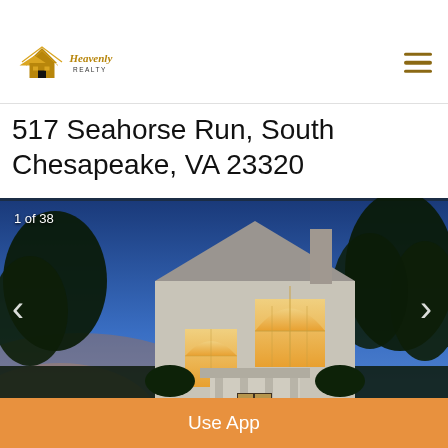[Figure (logo): Heavenly Realty logo with golden house/mountain icon and script text]
517 Seahorse Run, South Chesapeake, VA 23320
[Figure (photo): Twilight exterior photo of a two-story gray stucco house with arched windows lit from inside, trees silhouetted against blue-purple dusk sky. Counter shows 1 of 38.]
MoveTo
Find the home of your dreams.
★★★★☆
Use App